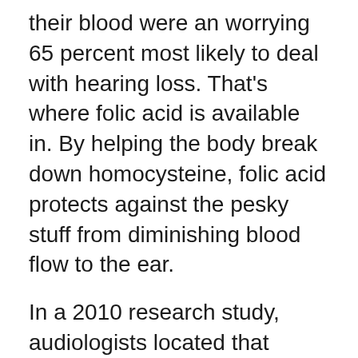their blood were an worrying 65 percent most likely to deal with hearing loss. That's where folic acid is available in. By helping the body break down homocysteine, folic acid protects against the pesky stuff from diminishing blood flow to the ear.
In a 2010 research study, audiologists located that people with reduced levels of folic acid were dramatically more likely to experience high-frequency hearing loss. As a benefit– since way too much homocysteine in the blood might likewise show heart disease, stroke as well as dementia,– you're doing much more than simply aiding your hearing when you up your intake of folic acid. You can, naturally, locate folic acid in supplement kind, but you can likewise